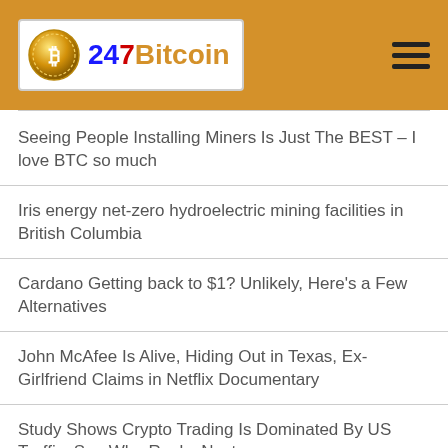247 Bitcoin
Seeing People Installing Miners Is Just The BEST – I love BTC so much
Iris energy net-zero hydroelectric mining facilities in British Columbia
Cardano Getting back to $1? Unlikely, Here's a Few Alternatives
John McAfee Is Alive, Hiding Out in Texas, Ex-Girlfriend Claims in Netflix Documentary
Study Shows Crypto Trading Is Dominated By US Traffic, See Who Ranks Next
10k moral hazard